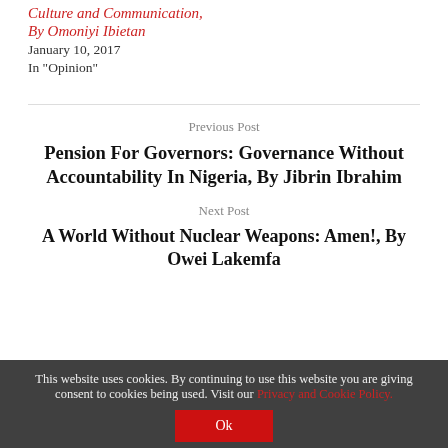Culture and Communication,
By Omoniyi Ibietan
January 10, 2017
In "Opinion"
Previous Post
Pension For Governors: Governance Without Accountability In Nigeria, By Jibrin Ibrahim
Next Post
A World Without Nuclear Weapons: Amen!, By Owei Lakemfa
This website uses cookies. By continuing to use this website you are giving consent to cookies being used. Visit our Privacy and Cookie Policy. Ok